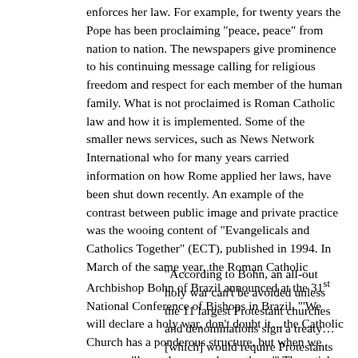enforces her law. For example, for twenty years the Pope has been proclaiming "peace, peace" from nation to nation. The newspapers give prominence to his continuing message calling for religious freedom and respect for each member of the human family. What is not proclaimed is Roman Catholic law and how it is implemented. Some of the smaller news services, such as News Network International who for many years carried information on how Rome applied her laws, have been shut down recently. An example of the contrast between public image and private practice was the wooing content of "Evangelicals and Catholics Together" (ECT), published in 1994. In March of the same year, the Roman Catholic Archbishop Bohn of Brazil announced at the 31st National Conference of Bishops in Brazil, "'We will declare a holy war, don't doubt it…the Catholic Church has a ponderous structure, but when we move we'll smash anyone beneath us.'" The article reporting on statement went on to comment,
"According to Bohn, an all-out holy war can't be avoided unless the 11 largest Protestant churches and denominations sign a treaty…[which] would require Protestants to stop evangelization in...